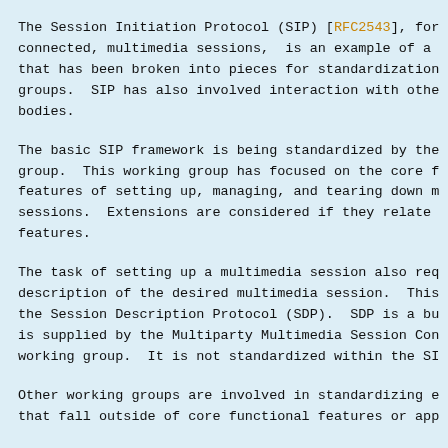The Session Initiation Protocol (SIP) [RFC2543], for connected, multimedia sessions,  is an example of a that has been broken into pieces for standardization groups.  SIP has also involved interaction with othe bodies.
The basic SIP framework is being standardized by the group.  This working group has focused on the core f features of setting up, managing, and tearing down m sessions.  Extensions are considered if they relate features.
The task of setting up a multimedia session also req description of the desired multimedia session.  This the Session Description Protocol (SDP).  SDP is a bu is supplied by the Multiparty Multimedia Session Con working group.  It is not standardized within the SI
Other working groups are involved in standardizing e that fall outside of core functional features or app